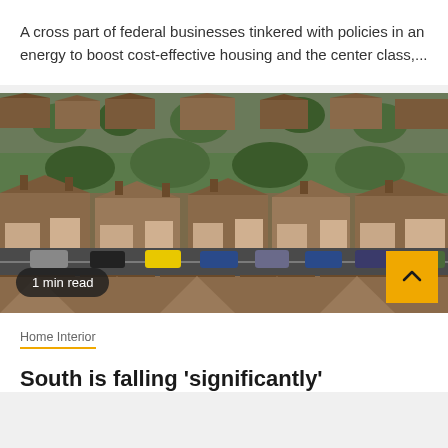A cross part of federal businesses tinkered with policies in an energy to boost cost-effective housing and the center class,...
[Figure (photo): Aerial view of rows of red brick terraced houses in a British suburb, with a main road running through the middle, cars parked and passing, green trees between properties, taken from a drone or elevated position.]
1 min read
Home Interior
South is falling 'significantly'